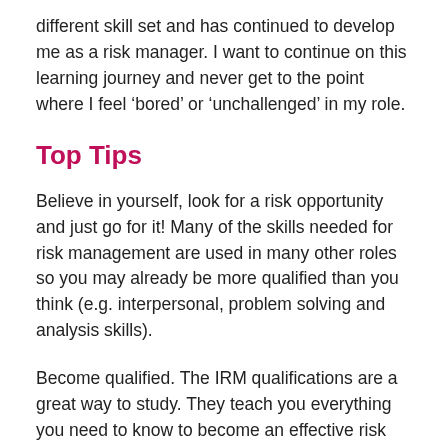different skill set and has continued to develop me as a risk manager. I want to continue on this learning journey and never get to the point where I feel 'bored' or 'unchallenged' in my role.
Top Tips
Believe in yourself, look for a risk opportunity and just go for it! Many of the skills needed for risk management are used in many other roles so you may already be more qualified than you think (e.g. interpersonal, problem solving and analysis skills).
Become qualified. The IRM qualifications are a great way to study. They teach you everything you need to know to become an effective risk manager and are recognised by employers worldwide. Studying at home gives you full flexibility to fit it into your own